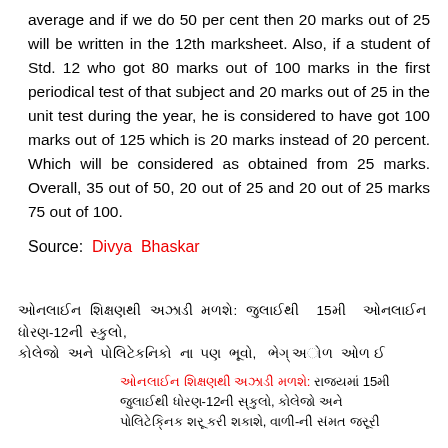average and if we do 50 per cent then 20 marks out of 25 will be written in the 12th marksheet. Also, if a student of Std. 12 who got 80 marks out of 100 marks in the first periodical test of that subject and 20 marks out of 25 in the unit test during the year, he is considered to have got 100 marks out of 125 which is 20 marks instead of 20 percent. Which will be considered as obtained from 25 marks. Overall, 35 out of 50, 20 out of 25 and 20 out of 25 marks 75 out of 100.
Source: Divya Bhaskar
Gujarati text: ઓનલાઈન શિક્ષણથી અઝાડી 15મી જુલાઈથી ધોરણ-12ની સ્કુલો, કોલેજો અને પોલિટેકનિક શરૂ કરી શકાશે, વાળી-ની સંમત જરૂરી
Gujarati text line 2